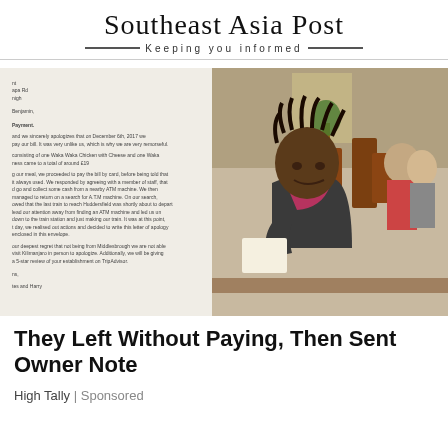Southeast Asia Post — Keeping you informed
[Figure (photo): Two-panel image: left panel shows a handwritten/typed letter of apology about not paying a restaurant bill; right panel shows a man sitting in a restaurant reading, wearing a leather jacket and pink scarf.]
They Left Without Paying, Then Sent Owner Note
High Tally | Sponsored